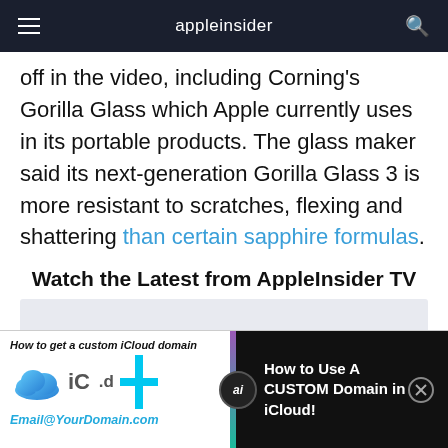appleinsider
off in the video, including Corning's Gorilla Glass which Apple currently uses in its portable products. The glass maker said its next-generation Gorilla Glass 3 is more resistant to scratches, flexing and shattering than certain sapphire formulas.
Watch the Latest from AppleInsider TV
[Figure (screenshot): Advertisement banner: 'How to get a custom iCloud domain' showing iCloud logo, 'iC .d+' graphic and 'Email@YourDomain.com' on left; AppleInsider ai circle logo in center divider; 'How to Use A CUSTOM Domain in iCloud!' text on black background on right with close button.]